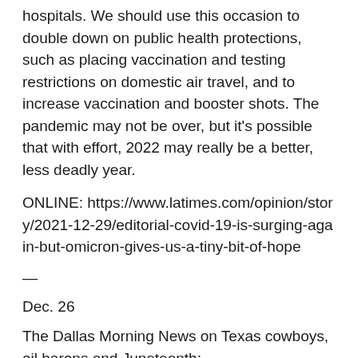hospitals. We should use this occasion to double down on public health protections, such as placing vaccination and testing restrictions on domestic air travel, and to increase vaccination and booster shots. The pandemic may not be over, but it's possible that with effort, 2022 may really be a better, less deadly year.
ONLINE: https://www.latimes.com/opinion/story/2021-12-29/editorial-covid-19-is-surging-again-but-omicron-gives-us-a-tiny-bit-of-hope
—
Dec. 26
The Dallas Morning News on Texas cowboys, oil barons and Juneteenth:
The brilliance of award-winning historian and Harvard